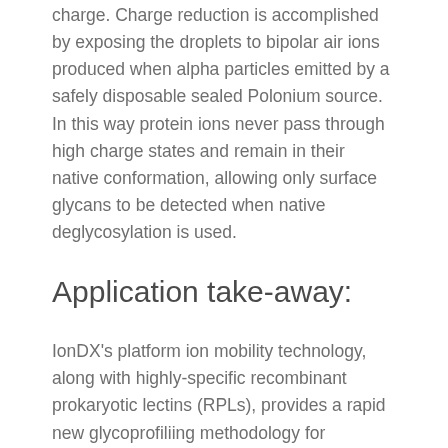charge. Charge reduction is accomplished by exposing the droplets to bipolar air ions produced when alpha particles emitted by a safely disposable sealed Polonium source. In this way protein ions never pass through high charge states and remain in their native conformation, allowing only surface glycans to be detected when native deglycosylation is used.
Application take-away:
IonDX's platform ion mobility technology, along with highly-specific recombinant prokaryotic lectins (RPLs), provides a rapid new glycoprofiliing methodology for assaying glycoproteins such as biotherapeutic antibodies.